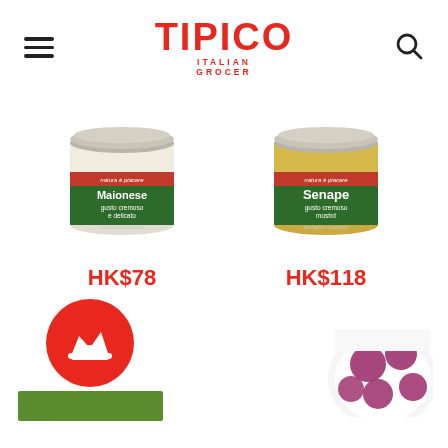TIPICO ITALIAN GROCER
[Figure (photo): Jar of Maionese (mayonnaise) with green label reading 'natura è piacere, Maionese, gusto cremoso e delicato, biologico orgánico']
HK$78
[Figure (photo): Jar of Senape (mustard) with green label reading 'natura è piacere, Senape, gusto cremoso, mostrd, biologico orgánico']
HK$118
[Figure (photo): Red circular badge with white crown icon]
[Figure (photo): Partially visible product with white packaging and purple/pink polka dots]